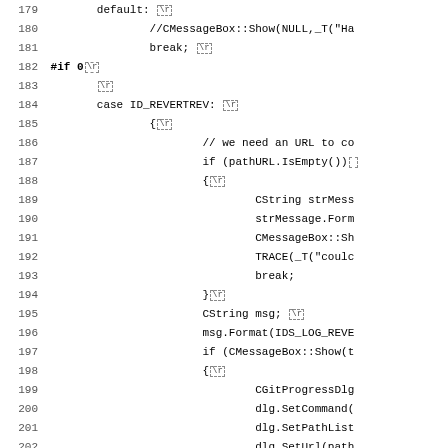[Figure (screenshot): Source code listing showing C++ code lines 179-210 with line numbers, dashed \r markers, and indented code including a switch-case block for ID_REVERTREV with CString, CMessageBox, CGitProgressDlg calls.]